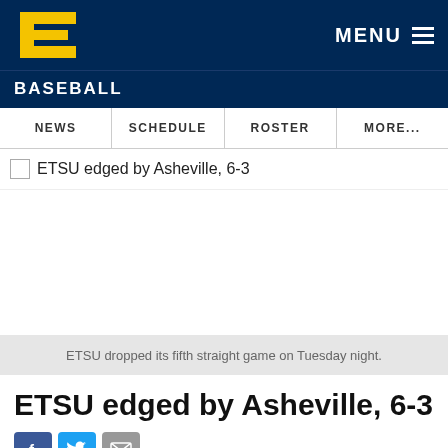[Figure (logo): ETSU logo — gold stylized letter E on dark navy background]
BASEBALL
NEWS | SCHEDULE | ROSTER | MORE...
ETSU edged by Asheville, 6-3
ETSU dropped its fifth straight game on Tuesday night.
ETSU edged by Asheville, 6-3